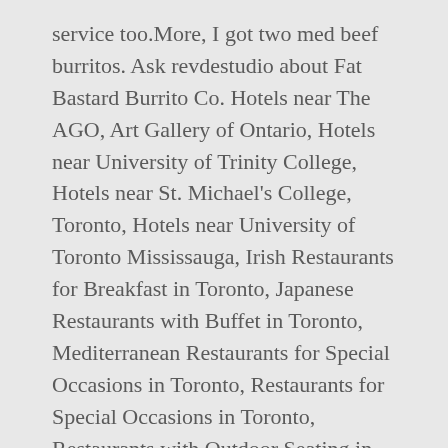service too.More, I got two med beef burritos. Ask revdestudio about Fat Bastard Burrito Co. Hotels near The AGO, Art Gallery of Ontario, Hotels near University of Trinity College, Hotels near St. Michael's College, Toronto, Hotels near University of Toronto Mississauga, Irish Restaurants for Breakfast in Toronto, Japanese Restaurants with Buffet in Toronto, Mediterranean Restaurants for Special Occasions in Toronto, Restaurants for Special Occasions in Toronto, Restaurants with Outdoor Seating in Toronto, Italian Restaurants for Lunch in Downtown, Queen Street and West Queen West Restaurants. Root Vegetables Fries (220 Cals) $6.24. Perfect setting for a late night dinner. High Walk In Traffic ... this was a